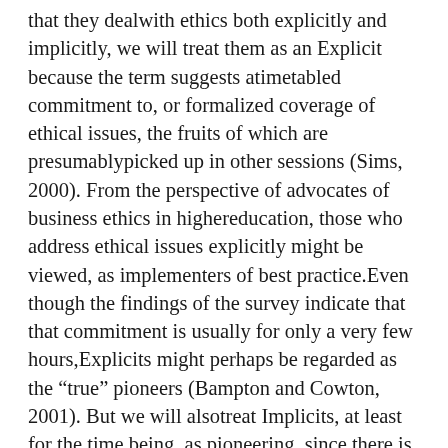that they dealwith ethics both explicitly and implicitly, we will treat them as an Explicit because the term suggests atimetabled commitment to, or formalized coverage of ethical issues, the fruits of which are presumablypicked up in other sessions (Sims, 2000). From the perspective of advocates of business ethics in highereducation, those who address ethical issues explicitly might be viewed, as implementers of best practice.Even though the findings of the survey indicate that that commitment is usually for only a very few hours,Explicits might perhaps be regarded as the “true” pioneers (Bampton and Cowton, 2001). But we will alsotreat Implicits, at least for the time being, as pioneering, since there is so little attention to ethical issueswithin the conventional treatment of the subject as represented by the textbook literature.In presenting and discussing the findings of the questionnaire survey, the structure of the remainder of thissection will reflect Sims” (2000) first four steps, reproduced in Figure 1: attitudes towards the importance ofethics; opinions over the role of universities in moral development; and views regarding who should teachethics and also how to